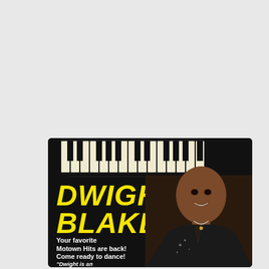[Figure (illustration): Promotional flyer for Dwight Blake, a Motown performer. Black background with piano keys across the top, large yellow italic bold text reading 'DWIGHT BLAKE', white bold text reading 'Your favorite Motown Hits are back! Come ready to dance!', partial quote text reading '"Dwight is an', and a photo of a smiling Black man in a black bedazzled jacket on the right side.]